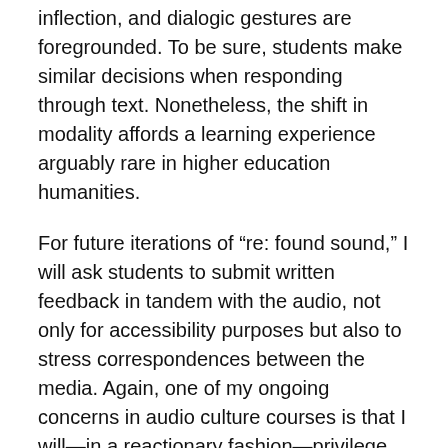inflection, and dialogic gestures are foregrounded. To be sure, students make similar decisions when responding through text. Nonetheless, the shift in modality affords a learning experience arguably rare in higher education humanities.
For future iterations of “re: found sound,” I will ask students to submit written feedback in tandem with the audio, not only for accessibility purposes but also to stress correspondences between the media. Again, one of my ongoing concerns in audio culture courses is that I will—in a reactionary fashion—privilege speaking and listening over seeing, reading, and watching. Such reactionary approaches risk dividing critical approaches when they can instead be suggestively blended through interdisciplinary research.